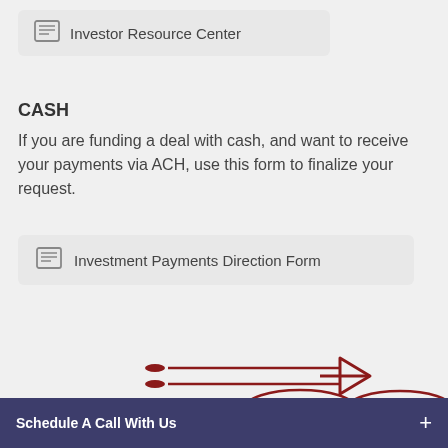Investor Resource Center
CASH
If you are funding a deal with cash, and want to receive your payments via ACH, use this form to finalize your request.
Investment Payments Direction Form
[Figure (illustration): Red line art illustration of coins with speed lines and arrow pointing right, suggesting fast money transfer]
Schedule A Call With Us